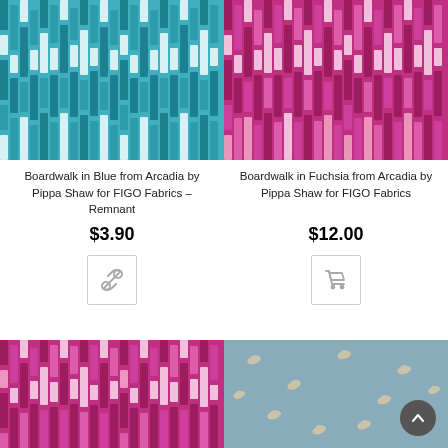[Figure (photo): Boardwalk in Blue fabric swatch – vertical striped pattern in teal and white]
Boardwalk in Blue from Arcadia by Pippa Shaw for FIGO Fabrics – Remnant
$3.90
[Figure (illustration): Link/chain icon button]
[Figure (photo): Boardwalk in Fuchsia fabric swatch – vertical striped pattern in pink, magenta and white]
Boardwalk in Fuchsia from Arcadia by Pippa Shaw for FIGO Fabrics
$12.00
[Figure (illustration): Shopping cart icon button]
[Figure (photo): Bottom-left fabric swatch – vertical striped pattern in pink and magenta]
[Figure (photo): Bottom-right fabric swatch – grey fabric with white birds/cranes pattern]